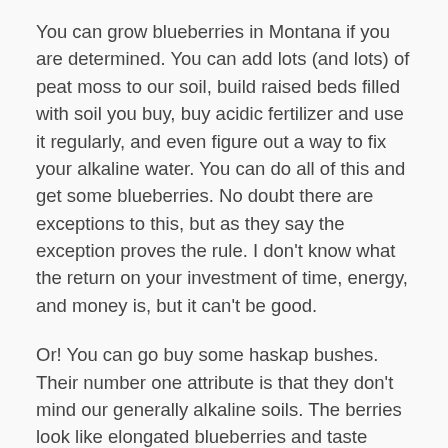You can grow blueberries in Montana if you are determined. You can add lots (and lots) of peat moss to our soil, build raised beds filled with soil you buy, buy acidic fertilizer and use it regularly, and even figure out a way to fix your alkaline water. You can do all of this and get some blueberries. No doubt there are exceptions to this, but as they say the exception proves the rule. I don't know what the return on your investment of time, energy, and money is, but it can't be good.
Or! You can go buy some haskap bushes. Their number one attribute is that they don't mind our generally alkaline soils. The berries look like elongated blueberries and taste close enough I think, maybe even better. Haskaps are members of the honeysuckle family (Lonicera) and come from the northern boreal forests of Asia, Russia, and North America. In Japan they were given the